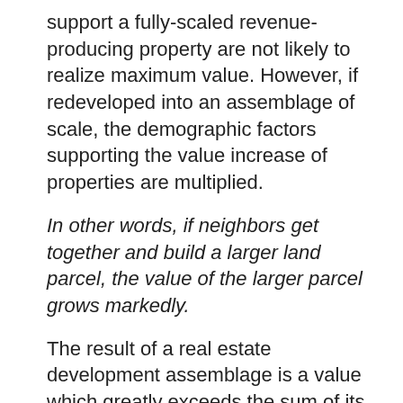support a fully-scaled revenue-producing property are not likely to realize maximum value. However, if redeveloped into an assemblage of scale, the demographic factors supporting the value increase of properties are multiplied.
In other words, if neighbors get together and build a larger land parcel, the value of the larger parcel grows markedly.
The result of a real estate development assemblage is a value which greatly exceeds the sum of its parts. Any grouping approaching an acre or more in size tends to demonstrate this effect.
How can co-owners profit from a development